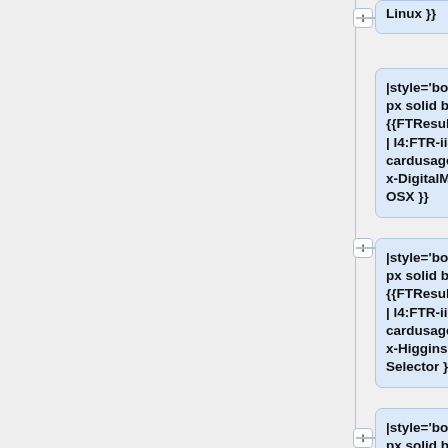Linux }}
|style='border:1px solid black;'|{{FTResultValue | l4:FTR-iis-cardusage-m2-x-DigitalMe for OSX }}
|style='border:1px solid black;'|{{FTResultValue | l4:FTR-iis-cardusage-m2-x-Higgins Air Selector }}
|style='border:1px solid black;'|{{FTResultValue | l4:FTR-iis-cardusage-m2-x-Higgins